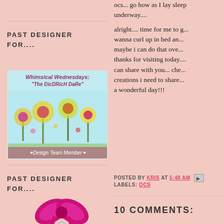PAST DESIGNER FOR....
[Figure (illustration): Whimsical Wednesdays 'The Diedrich Dare' design team member badge with colorful flowers on blue background]
PAST DESIGNER FOR....
[Figure (illustration): Danni's Dreams logo with pink ribbon bow and tag]
ocs... go how as I lay sleep underway....
alright.... time for me to g... wanna curl up in bed an... maybe i can do that ove... thanks for visiting today.... can share with you... che... creations i need to share... a wonderful day!!!
POSTED BY KRIS AT 5:48 AM   LABELS: OCS
10 COMMENTS: